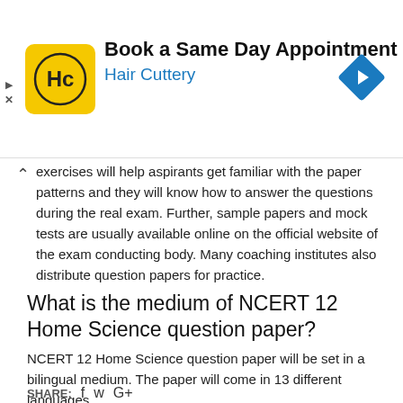[Figure (screenshot): Hair Cuttery advertisement banner: logo (HC in yellow circle), text 'Book a Same Day Appointment / Hair Cuttery', and blue diamond arrow icon on right.]
exercises will help aspirants get familiar with the paper patterns and they will know how to answer the questions during the real exam. Further, sample papers and mock tests are usually available online on the official website of the exam conducting body. Many coaching institutes also distribute question papers for practice.
What is the medium of NCERT 12 Home Science question paper?
NCERT 12 Home Science question paper will be set in a bilingual medium. The paper will come in 13 different languages.
SHARE:
[Figure (screenshot): AvidXchange advertisement: 'Robust purchase-to-pay' with blue background, overlapping a partially visible section header 'Grad...' and a photo strip at bottom showing 'Washington State University'.]